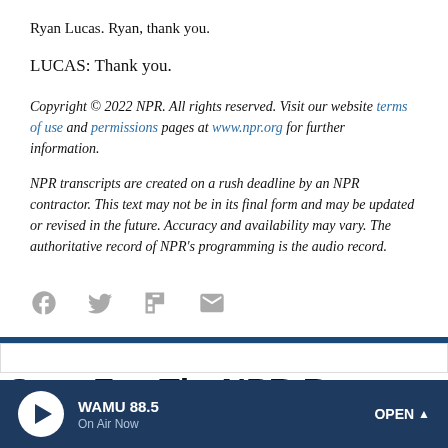Ryan Lucas. Ryan, thank you.
LUCAS: Thank you.
Copyright © 2022 NPR. All rights reserved. Visit our website terms of use and permissions pages at www.npr.org for further information.
NPR transcripts are created on a rush deadline by an NPR contractor. This text may not be in its final form and may be updated or revised in the future. Accuracy and availability may vary. The authoritative record of NPR's programming is the audio record.
[Figure (infographic): Social sharing icons: Facebook, Twitter, Flipboard, Email]
WAMU 88.5 On Air Now OPEN